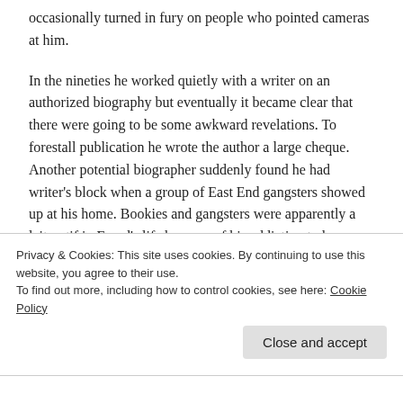occasionally turned in fury on people who pointed cameras at him.
In the nineties he worked quietly with a writer on an authorized biography but eventually it became clear that there were going to be some awkward revelations. To forestall publication he wrote the author a large cheque. Another potential biographer suddenly found he had writer's block when a group of East End gangsters showed up at his home. Bookies and gangsters were apparently a leitmotif in Freud's life because of his addiction to horse racing and gambling. (The largest collection of his paintings belonged to Afic Mclean, a Northern Irish
Privacy & Cookies: This site uses cookies. By continuing to use this website, you agree to their use.
To find out more, including how to control cookies, see here: Cookie Policy